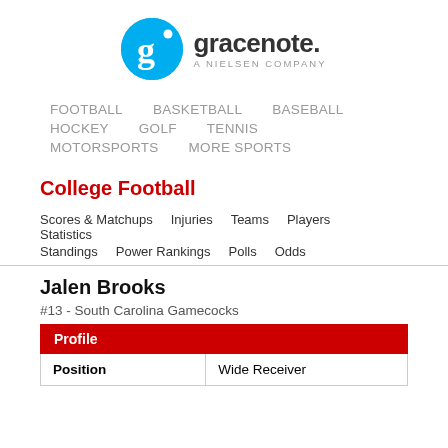[Figure (logo): Gracenote logo with blue circle containing letter g, and text 'gracenote. A NIELSEN COMPANY']
FOOTBALL  BASKETBALL  BASEBALL  HOCKEY  GOLF  TENNIS  MOTORSPORTS  MORE SPORTS
College Football
Scores & Matchups  Injuries  Teams  Players  Statistics  Standings  Power Rankings  Polls  Odds
Jalen Brooks
#13 - South Carolina Gamecocks
| Profile |  |
| --- | --- |
| Position | Wide Receiver |